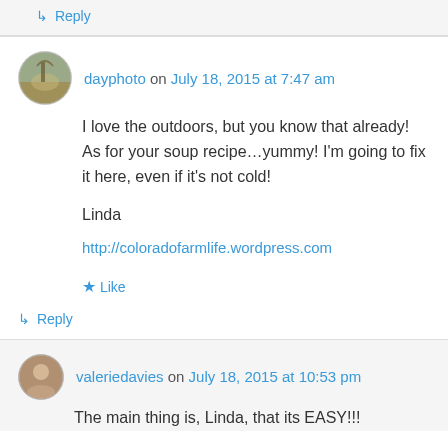↳ Reply
dayphoto on July 18, 2015 at 7:47 am
I love the outdoors, but you know that already! As for your soup recipe…yummy! I'm going to fix it here, even if it's not cold!

Linda
http://coloradofarmlife.wordpress.com
★ Like
↳ Reply
valeriedavies on July 18, 2015 at 10:53 pm
The main thing is, Linda, that its EASY!!!